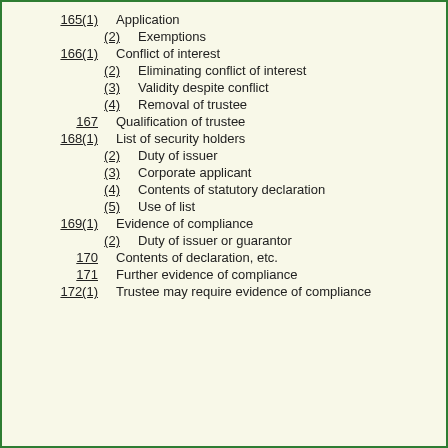165(1)  Application
(2)  Exemptions
166(1)  Conflict of interest
(2)  Eliminating conflict of interest
(3)  Validity despite conflict
(4)  Removal of trustee
167  Qualification of trustee
168(1)  List of security holders
(2)  Duty of issuer
(3)  Corporate applicant
(4)  Contents of statutory declaration
(5)  Use of list
169(1)  Evidence of compliance
(2)  Duty of issuer or guarantor
170  Contents of declaration, etc.
171  Further evidence of compliance
172(1)  Trustee may require evidence of compliance